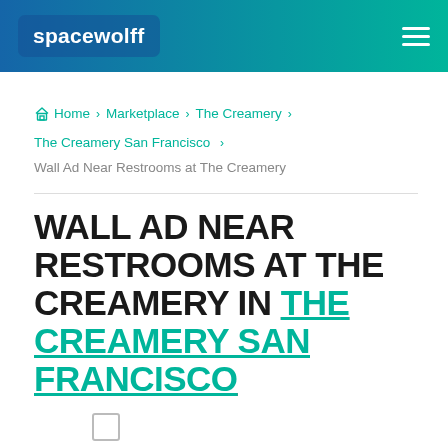spacewolff
Home › Marketplace › The Creamery › The Creamery San Francisco › Wall Ad Near Restrooms at The Creamery
WALL AD NEAR RESTROOMS AT THE CREAMERY IN THE CREAMERY SAN FRANCISCO